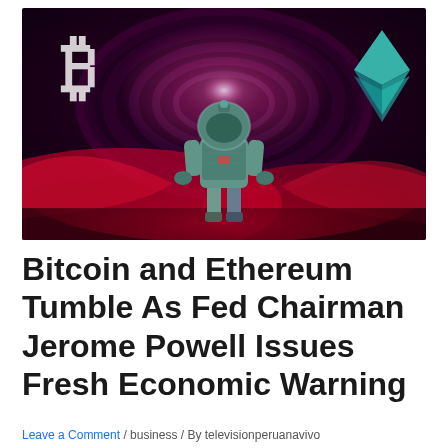[Figure (illustration): A dark, atmospheric digital art image showing an astronaut in a spacesuit walking through a tunnel with red glowing mist on the ground. A large white Bitcoin logo (₿) is on the upper left, and a teal/turquoise Ethereum diamond logo is on the upper right. The tunnel background glows pink/magenta.]
Bitcoin and Ethereum Tumble As Fed Chairman Jerome Powell Issues Fresh Economic Warning
Leave a Comment / business / By televisionperuanavivo